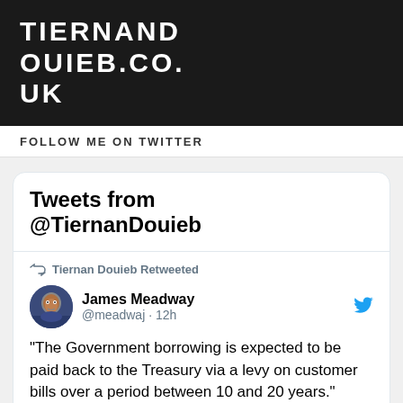TIERNANDOUIEB.CO.UK
FOLLOW ME ON TWITTER
Tweets from @TiernanDouieb
Tiernan Douieb Retweeted
James Meadway @meadwaj · 12h
“The Government borrowing is expected to be paid back to the Treasury via a levy on customer bills over a period between 10 and 20 years.”